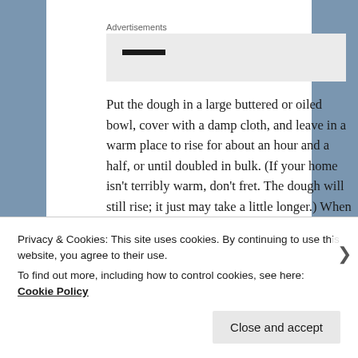Advertisements
Put the dough in a large buttered or oiled bowl, cover with a damp cloth, and leave in a warm place to rise for about an hour and a half, or until doubled in bulk. (If your home isn't terribly warm, don't fret. The dough will still rise; it just may take a little longer.) When the dough has doubled in bulk, punch it down and let it rise again for another 30 minutes.
Privacy & Cookies: This site uses cookies. By continuing to use this website, you agree to their use.
To find out more, including how to control cookies, see here: Cookie Policy
Close and accept